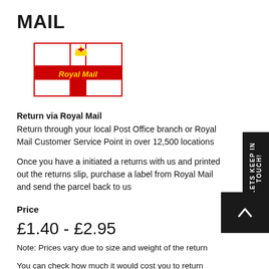MAIL
[Figure (logo): Royal Mail logo — red cross shape with crown icon and 'Royal Mail' text in yellow on red background, framed by a red border rectangle]
Return via Royal Mail
Return through your local Post Office branch or Royal Mail Customer Service Point in over 12,500 locations
Once you have a initiated a returns with us and printed out the returns slip, purchase a label from Royal Mail and send the parcel back to us
Price
£1.40 - £2.95
Note: Prices vary due to size and weight of the return
You can check how much it would cost you to return your parcel by clicking here